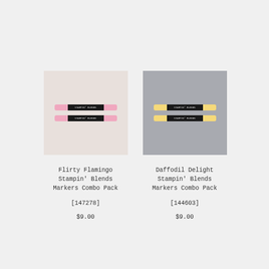[Figure (photo): Two pink Stampin' Blends markers on a light background]
[Figure (photo): Two yellow Stampin' Blends markers on a gray background]
Flirty Flamingo Stampin' Blends Markers Combo Pack
Daffodil Delight Stampin' Blends Markers Combo Pack
[147278]
[144603]
$9.00
$9.00